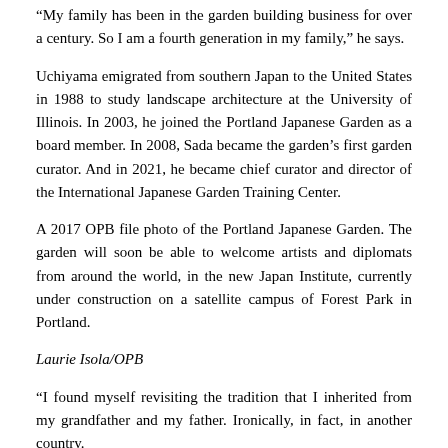“My family has been in the garden building business for over a century. So I am a fourth generation in my family,” he says.
Uchiyama emigrated from southern Japan to the United States in 1988 to study landscape architecture at the University of Illinois. In 2003, he joined the Portland Japanese Garden as a board member. In 2008, Sada became the garden’s first garden curator. And in 2021, he became chief curator and director of the International Japanese Garden Training Center.
A 2017 OPB file photo of the Portland Japanese Garden. The garden will soon be able to welcome artists and diplomats from around the world, in the new Japan Institute, currently under construction on a satellite campus of Forest Park in Portland.
Laurie Isola/OPB
“I found myself revisiting the tradition that I inherited from my grandfather and my father. Ironically, in fact, in another country.
In addition to the landscapes that Uchiyama helps maintain daily, the garden also nurtures and develops the sometimes complicated historical